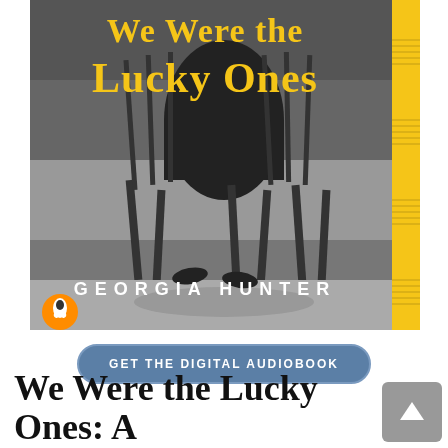[Figure (photo): Book cover of 'We Were the Lucky Ones' by Georgia Hunter. Black and white photo of chairs with figure legs/feet visible underneath. Yellow title text at top, author name in white capitals at bottom. Orange Penguin publisher logo at bottom left. Yellow vertical strip on right edge.]
GET THE DIGITAL AUDIOBOOK
We Were the Lucky Ones: A